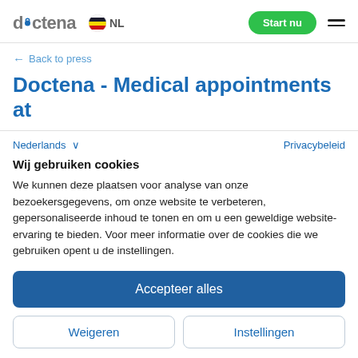doctena NL | Start nu
← Back to press
Doctena - Medical appointments at
Nederlands ∨   Privacybeleid
Wij gebruiken cookies
We kunnen deze plaatsen voor analyse van onze bezoekersgegevens, om onze website te verbeteren, gepersonaliseerde inhoud te tonen en om u een geweldige website-ervaring te bieden. Voor meer informatie over de cookies die we gebruiken opent u de instellingen.
Accepteer alles
Weigeren
Instellingen